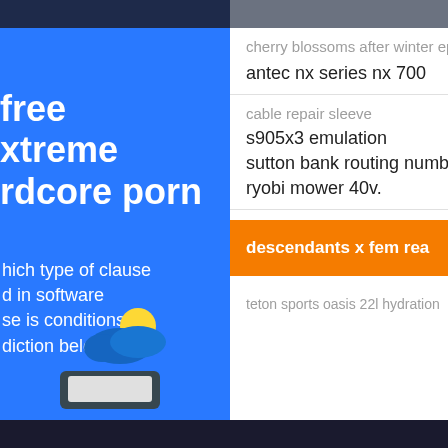free
extreme
hardcore porn
which type of clause
d in software
se is conditions by
diction belong
cherry blossoms after winter epi
antec nx series nx 700
cable repair sleeve
s905x3 emulation
sutton bank routing number geo
ryobi mower 40v.
descendants x fem rea
teton sports oasis 22l hydration